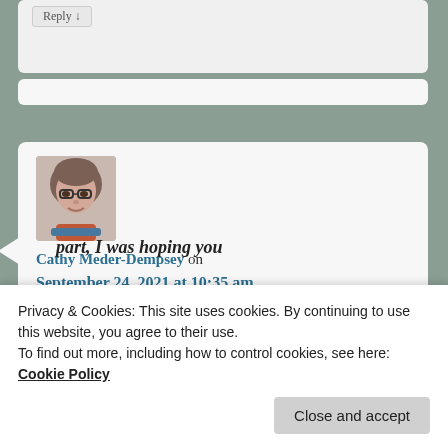[Figure (screenshot): Partial view of a blog comment section showing a Reply button and a comment bubble, cropped at top]
[Figure (photo): Avatar photo of Cathy Meder-Dempsey, a woman with short hair, glasses, and a colorful scarf]
Cathy Meder-Dempsey on
September 24, 2021 at 10:35 am
part, I was hoping you
Privacy & Cookies: This site uses cookies. By continuing to use this website, you agree to their use.
To find out more, including how to control cookies, see here: Cookie Policy
Close and accept